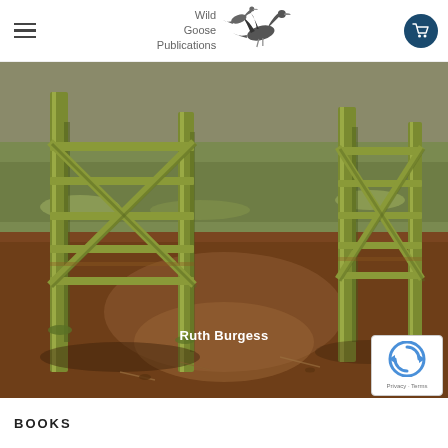Wild Goose Publications
[Figure (photo): Book cover photograph showing a weathered green metal farm gate with diagonal cross-bars, set in a muddy rural landscape with sparse vegetation. The author name 'Ruth Burgess' is overlaid in white text near the bottom centre of the image.]
Ruth Burgess
BOOKS